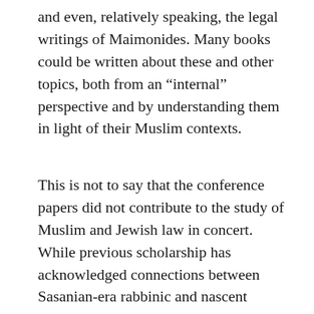and even, relatively speaking, the legal writings of Maimonides. Many books could be written about these and other topics, both from an “internal” perspective and by understanding them in light of their Muslim contexts.
This is not to say that the conference papers did not contribute to the study of Muslim and Jewish law in concert.  While previous scholarship has acknowledged connections between Sasanian-era rabbinic and nascent Islamic legal systems, these connections await thorough scrutiny.  G. Libson and